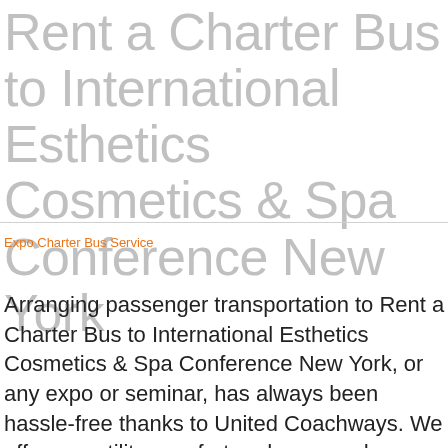Rent a Charter Bus to International Esthetics Cosmetics & Spa Conference New York
Expo Charter Bus Service
Arranging passenger transportation to Rent a Charter Bus to International Esthetics Cosmetics & Spa Conference New York, or any expo or seminar, has always been hassle-free thanks to United Coachways. We offer versatility, comfort and ease and a relaxed travel setting for any guests. When you are organizing your tour, you are able to utilize our very own customer sales reps to prepare